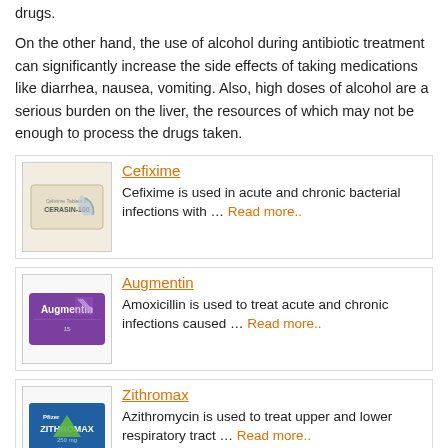drugs.
On the other hand, the use of alcohol during antibiotic treatment can significantly increase the side effects of taking medications like diarrhea, nausea, vomiting. Also, high doses of alcohol are a serious burden on the liver, the resources of which may not be enough to process the drugs taken.
[Figure (photo): Cefixime tablet box packaging]
Cefixime
Cefixime is used in acute and chronic bacterial infections with … Read more..
[Figure (photo): Augmentin tablet box packaging]
Augmentin
Amoxicillin is used to treat acute and chronic infections caused … Read more..
[Figure (photo): Zithromax tablet box packaging]
Zithromax
Azithromycin is used to treat upper and lower respiratory tract … Read more..
[Figure (photo): Ciprofloxacin tablet box packaging]
Ciprofloxacin
Form of release The tablets covered with a cover.